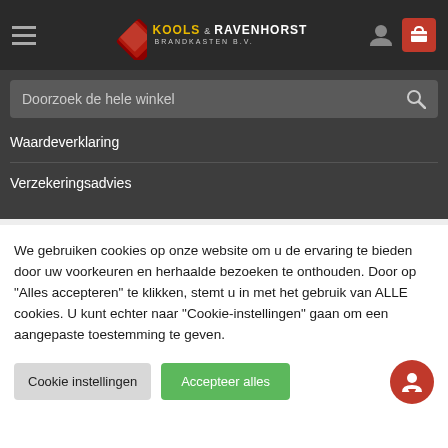[Figure (logo): Kools & Ravenhorst Brandkasten B.V. logo with red diamond shape and yellow/white text]
Doorzoek de hele winkel
Waardeverklaring
Verzekeringsadvies
We gebruiken cookies op onze website om u de ervaring te bieden door uw voorkeuren en herhaalde bezoeken te onthouden. Door op "Alles accepteren" te klikken, stemt u in met het gebruik van ALLE cookies. U kunt echter naar "Cookie-instellingen" gaan om een aangepaste toestemming te geven.
Cookie instellingen
Accepteer alles